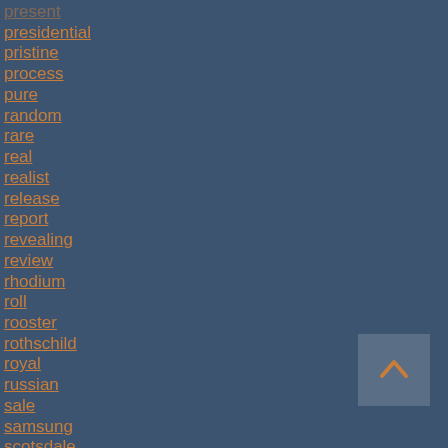present
presidential
pristine
process
pure
random
rare
real
realist
release
report
revealing
review
rhodium
roll
rooster
rothschild
royal
russian
sale
samsung
scotsdale
scottsdale
sealed
sell
serialised
should
[Figure (other): Up arrow navigation button]